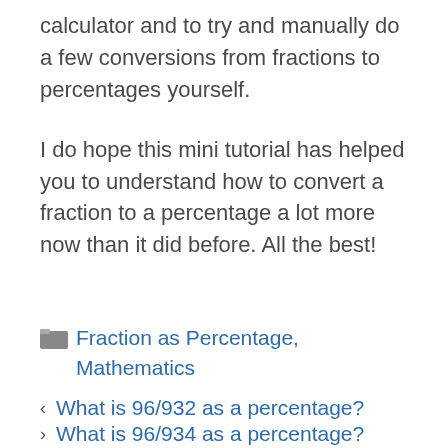calculator and to try and manually do a few conversions from fractions to percentages yourself.
I do hope this mini tutorial has helped you to understand how to convert a fraction to a percentage a lot more now than it did before. All the best!
Fraction as Percentage, Mathematics
< What is 96/932 as a percentage?
> What is 96/934 as a percentage?